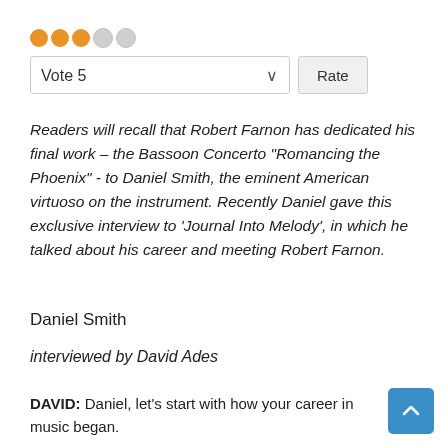[Figure (other): Star rating widget showing 3 filled orange dots and 2 empty grey dots]
[Figure (other): Vote dropdown selector showing 'Vote 5' with a Rate button]
Readers will recall that Robert Farnon has dedicated his final work – the Bassoon Concerto "Romancing the Phoenix" - to Daniel Smith, the eminent American virtuoso on the instrument. Recently Daniel gave this exclusive interview to 'Journal Into Melody', in which he talked about his career and meeting Robert Farnon.
Daniel Smith
interviewed by David Ades
DAVID: Daniel, let's start with how your career in music began.
DANIEL: I grew up in a family where there was not any